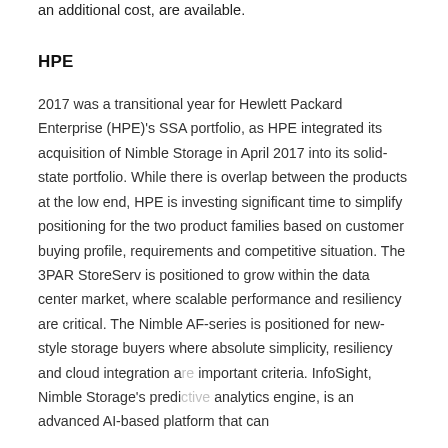an additional cost, are available.
HPE
2017 was a transitional year for Hewlett Packard Enterprise (HPE)'s SSA portfolio, as HPE integrated its acquisition of Nimble Storage in April 2017 into its solid-state portfolio. While there is overlap between the products at the low end, HPE is investing significant time to simplify positioning for the two product families based on customer buying profile, requirements and competitive situation. The 3PAR StoreServ is positioned to grow within the data center market, where scalable performance and resiliency are critical. The Nimble AF-series is positioned for new-style storage buyers where absolute simplicity, resiliency and cloud integration are important criteria. InfoSight, Nimble Storage's predictive analytics engine, is an advanced AI-based platform that can